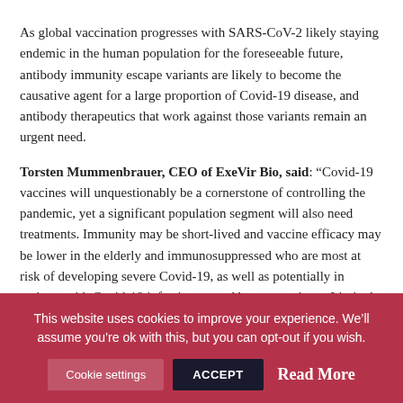As global vaccination progresses with SARS-CoV-2 likely staying endemic in the human population for the foreseeable future, antibody immunity escape variants are likely to become the causative agent for a large proportion of Covid-19 disease, and antibody therapeutics that work against those variants remain an urgent need.
Torsten Mummenbrauer, CEO of ExeVir Bio, said: “Covid-19 vaccines will unquestionably be a cornerstone of controlling the pandemic, yet a significant population segment will also need treatments. Immunity may be short-lived and vaccine efficacy may be lower in the elderly and immunosuppressed who are most at risk of developing severe Covid-19, as well as potentially in patients with Covid-19 infection caused by new variants. Limited vaccine availability in many countries, vaccine hesitancy and viral evolution to escape human immunity, of
This website uses cookies to improve your experience. We’ll assume you’re ok with this, but you can opt-out if you wish.